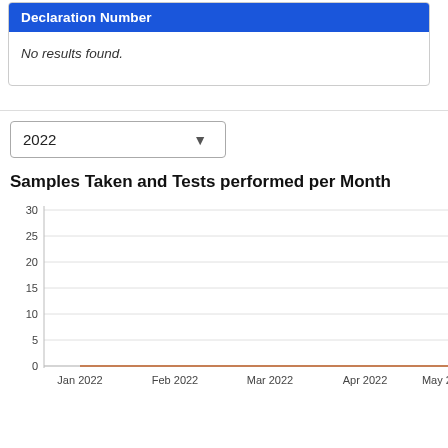| Declaration Number |
| --- |
No results found.
2022
Samples Taken and Tests performed per Month
[Figure (line-chart): Samples Taken and Tests performed per Month]